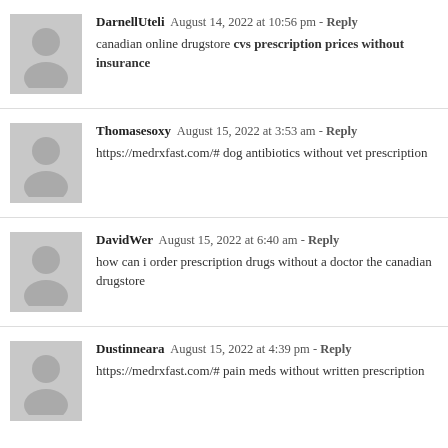DarnellUteli August 14, 2022 at 10:56 pm - Reply
canadian online drugstore cvs prescription prices without insurance
Thomasesoxy August 15, 2022 at 3:53 am - Reply
https://medrxfast.com/# dog antibiotics without vet prescription
DavidWer August 15, 2022 at 6:40 am - Reply
how can i order prescription drugs without a doctor the canadian drugstore
Dustinneara August 15, 2022 at 4:39 pm - Reply
https://medrxfast.com/# pain meds without written prescription